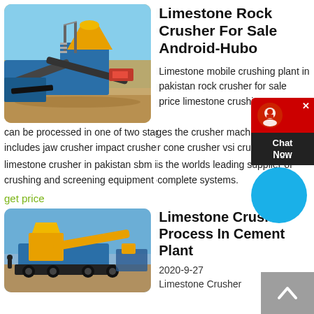[Figure (photo): Large yellow and blue limestone mobile crushing plant machinery outdoors on sandy ground with conveyor belts and structures.]
Limestone Rock Crusher For Sale Android-Hubo
Limestone mobile crushing plant in pakistan rock crusher for sale price limestone crushing can be processed in one of two stages the crusher machine involved includes jaw crusher impact crusher cone crusher vsi crusher etc limestone crusher in pakistan sbm is the worlds leading supplier of crushing and screening equipment complete systems.
get price
[Figure (photo): Yellow limestone crusher process machinery at a cement plant, outdoors under blue sky.]
Limestone Crusher Process In Cement Plant
2020-9-27
Limestone Crusher